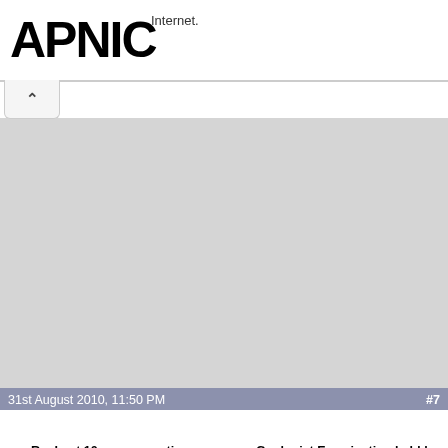[Figure (logo): APNIC logo in bold black text]
Internet.
31st August 2010, 11:50 PM   #7
poplu13
Senior Member+
Join Date: Aug 2010
Location: bhubaneswar
Posts: 706
Re: Last 10 years question papers on Geologist Examination held by UPSC